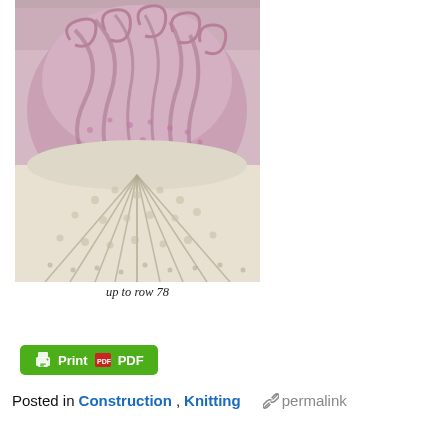[Figure (photo): Close-up photo of knitting project showing lace and cable knit work in pink/mauve yarn transitioning to cream/white yarn, laid flat on a surface. The pink portion has decorative cable pattern and the cream portion shows radiating lace pattern.]
up to row 78
[Figure (other): Green Print and PDF button with printer icon and PDF icon]
Posted in Construction, Knitting    permalink